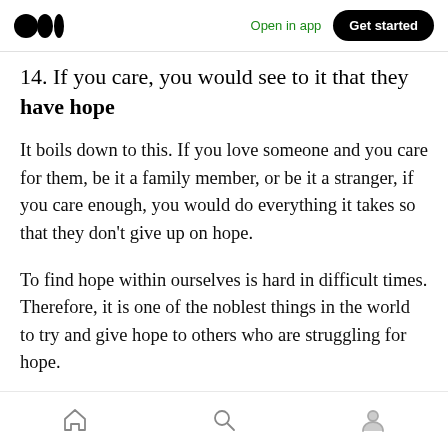Medium logo | Open in app | Get started
14. If you care, you would see to it that they have hope
It boils down to this. If you love someone and you care for them, be it a family member, or be it a stranger, if you care enough, you would do everything it takes so that they don't give up on hope.
To find hope within ourselves is hard in difficult times. Therefore, it is one of the noblest things in the world to try and give hope to others who are struggling for hope.
Home | Search | Profile